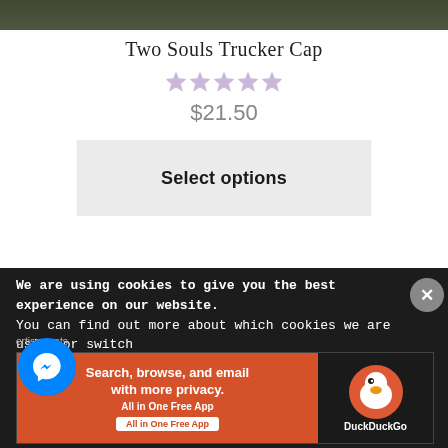[Figure (photo): Partial photo of person wearing dark olive/army green jacket, cropped at top]
Two Souls Trucker Cap
[Figure (other): Five star rating displayed in light lavender/purple color, all stars filled]
$21.50
Select options
We are using cookies to give you the best experience on our website.
You can find out more about which cookies we are using or switch
ertisements
[Figure (screenshot): DuckDuckGo advertisement banner: orange left panel with 'Search, browse, and email with more privacy. All in One Free App' and dark right panel with DuckDuckGo duck logo]
[Figure (logo): Facebook Messenger blue circle bubble icon]